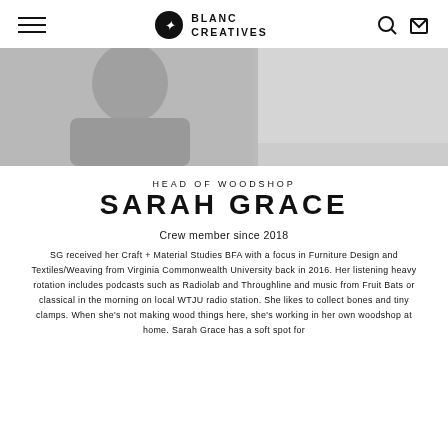BLANC CREATIVES
[Figure (photo): Hero photo of Sarah Grace, head of woodshop, showing a person in a dark top against a light background, cropped at shoulders.]
HEAD OF WOODSHOP
SARAH GRACE
Crew member since 2018
SG received her Craft + Material Studies BFA with a focus in Furniture Design and Textiles/Weaving from Virginia Commonwealth University back in 2016. Her listening heavy rotation includes podcasts such as Radiolab and Throughline and music from Fruit Bats or classical in the morning on local WTJU radio station. She likes to collect bones and tiny clamps. When she's not making wood things here, she's working in her own woodshop at home. Sarah Grace has a soft spot for